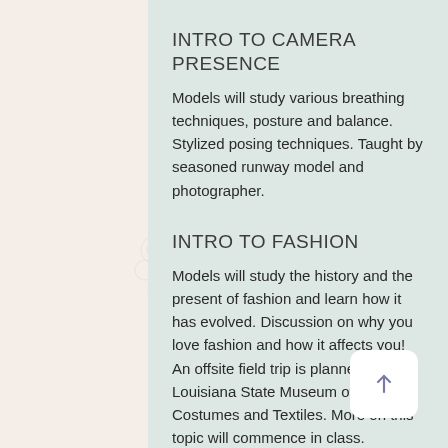INTRO TO CAMERA PRESENCE
Models will study various breathing techniques, posture and balance. Stylized posing techniques. Taught by seasoned runway model and photographer.
INTRO TO FASHION
Models will study the history and the present of fashion and learn how it has evolved. Discussion on why you love fashion and how it affects you! An offsite field trip is planned to The Louisiana State Museum of Costumes and Textiles. More on this topic will commence in class.
SKINCARE
Models will learn the importance of skin care and how to care for their skin.